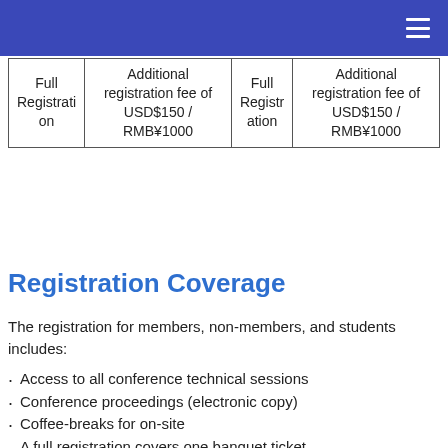| Full Registration | Additional registration fee of USD$150 / RMB¥1000 | Full Registration | Additional registration fee of USD$150 / RMB¥1000 |
| --- | --- | --- | --- |
| Full Registration | Additional registration fee of USD$150 / RMB¥1000 | Full Registration | Additional registration fee of USD$150 / RMB¥1000 |
Registration Coverage
The registration for members, non-members, and students includes:
Access to all conference technical sessions
Conference proceedings (electronic copy)
Coffee-breaks for on-site
A full registration covers one banquet ticket